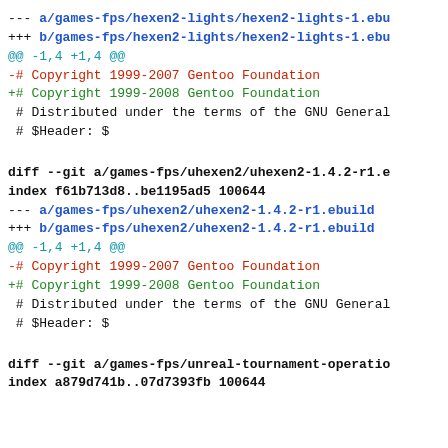--- a/games-fps/hexen2-lights/hexen2-lights-1.ebu
+++ b/games-fps/hexen2-lights/hexen2-lights-1.ebu
@@ -1,4 +1,4 @@
-# Copyright 1999-2007 Gentoo Foundation
+# Copyright 1999-2008 Gentoo Foundation
 # Distributed under the terms of the GNU General
 # $Header: $
diff --git a/games-fps/uhexen2/uhexen2-1.4.2-r1.e
index f61b713d8..be1195ad5 100644
--- a/games-fps/uhexen2/uhexen2-1.4.2-r1.ebuild
+++ b/games-fps/uhexen2/uhexen2-1.4.2-r1.ebuild
@@ -1,4 +1,4 @@
-# Copyright 1999-2007 Gentoo Foundation
+# Copyright 1999-2008 Gentoo Foundation
 # Distributed under the terms of the GNU General
 # $Header: $
diff --git a/games-fps/unreal-tournament-operatio
index a879d741b..07d7393fb 100644